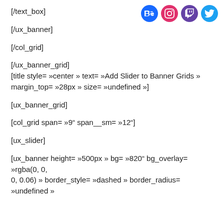[/text_box]
[Figure (infographic): Four social media icon circles: Behance (blue), Instagram (pink/red), Twitch (purple), Twitter (blue)]
[/ux_banner]
[/col_grid]
[/ux_banner_grid]
[title style= »center » text= »Add Slider to Banner Grids » margin_top= »28px » size= »undefined »]
[ux_banner_grid]
[col_grid span= »9" span__sm= »12"]
[ux_slider]
[ux_banner height= »500px » bg= »820" bg_overlay= »rgba(0, 0, 0, 0.06) » border_style= »dashed » border_radius= »undefined »